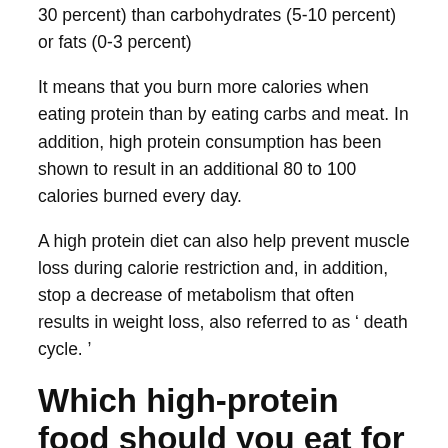30 percent) than carbohydrates (5-10 percent) or fats (0-3 percent)
It means that you burn more calories when eating protein than by eating carbs and meat. In addition, high protein consumption has been shown to result in an additional 80 to 100 calories burned every day.
A high protein diet can also help prevent muscle loss during calorie restriction and, in addition, stop a decrease of metabolism that often results in weight loss, also referred to as ‘ death cycle. ’
Which high-protein food should you eat for breakfast?
Eggs are highly tasty and high in protein. It has been shown that swapping a grain-based meal with eggs would help you eat fewer calories for the next 36 hours and lose more weight